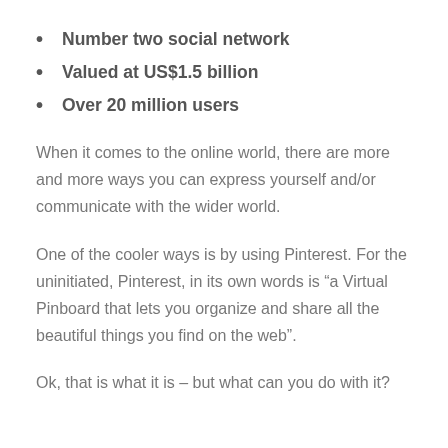Number two social network
Valued at US$1.5 billion
Over 20 million users
When it comes to the online world, there are more and more ways you can express yourself and/or communicate with the wider world.
One of the cooler ways is by using Pinterest. For the uninitiated, Pinterest, in its own words is “a Virtual Pinboard that lets you organize and share all the beautiful things you find on the web”.
Ok, that is what it is – but what can you do with it?